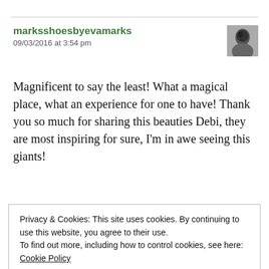marksshoesbyevamarks
09/03/2016 at 3:54 pm
Magnificent to say the least! What a magical place, what an experience for one to have! Thank you so much for sharing this beauties Debi, they are most inspiring for sure, I'm in awe seeing this giants!
Privacy & Cookies: This site uses cookies. By continuing to use this website, you agree to their use.
To find out more, including how to control cookies, see here: Cookie Policy
Close and accept
Liked by 1 person